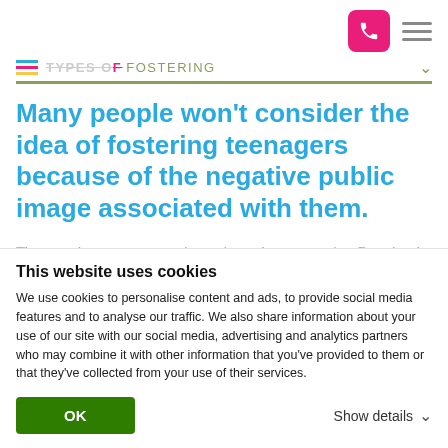TYPES OF FOSTERING
Many people won’t consider the idea of fostering teenagers because of the negative public image associated with them.
They may be seen as aggressive, noisy and uncooperative. But a brash exterior often hides feeling of insecurity, fear and confusion. As a result of these misconceptions, many
This website uses cookies
We use cookies to personalise content and ads, to provide social media features and to analyse our traffic. We also share information about your use of our site with our social media, advertising and analytics partners who may combine it with other information that you’ve provided to them or that they’ve collected from your use of their services.
OK   Show details